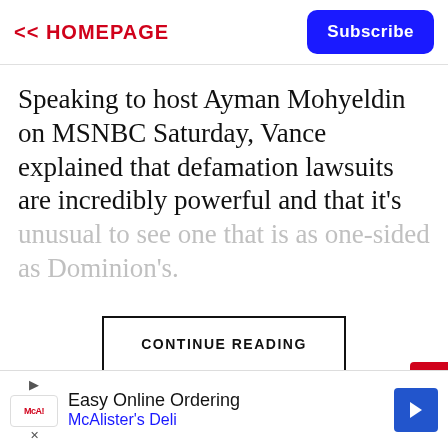<< HOMEPAGE | Subscribe
Speaking to host Ayman Mohyeldin on MSNBC Saturday, Vance explained that defamation lawsuits are incredibly powerful and that it's unusual to see one that is as one-sided as Dominion's.
CONTINUE READING
[Figure (other): Advertisement banner: Easy Online Ordering - McAlister's Deli with navigation arrow icon]
Easy Online Ordering McAlister's Deli